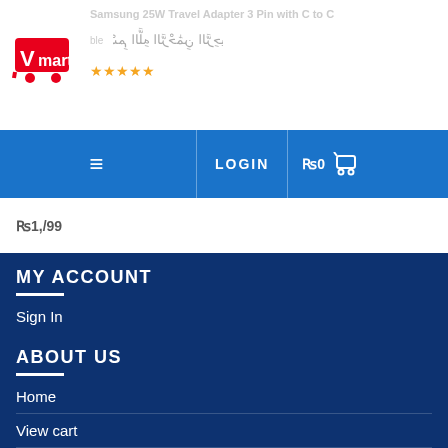Samsung 25W Travel Adapter 3 Pin with C to C
[Figure (logo): Vmart logo - red cart with 'mart' text]
ble
[Figure (illustration): Arabic bismillah calligraphy text]
★★★★★
≡ LOGIN ₨0 🛒
₨1,/99
MY ACCOUNT
Sign In
ABOUT US
Home
View cart
Company